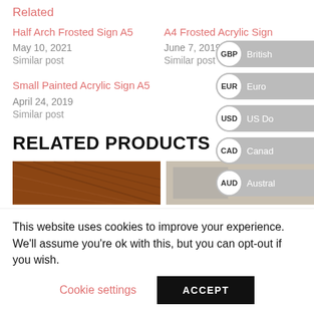Related
Half Arch Frosted Sign A5
May 10, 2021
Similar post
A4 Frosted Acrylic Sign
June 7, 2019
Similar post
Small Painted Acrylic Sign A5
April 24, 2019
Similar post
RELATED PRODUCTS
[Figure (photo): Two product images partially visible at the bottom of the page]
This website uses cookies to improve your experience. We'll assume you're ok with this, but you can opt-out if you wish.
Cookie settings    ACCEPT